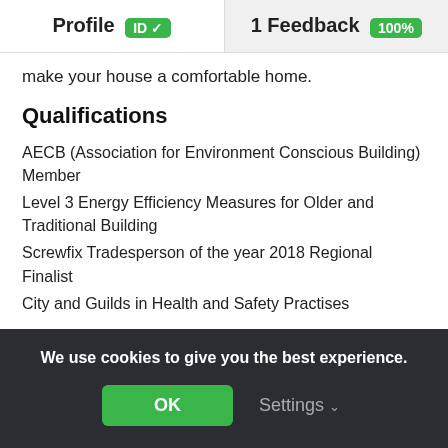Profile ID ✓  |  1 Feedback 100%
make your house a comfortable home.
Qualifications
AECB (Association for Environment Conscious Building) Member
Level 3 Energy Efficiency Measures for Older and Traditional Building
Screwfix Tradesperson of the year 2018 Regional Finalist
City and Guilds in Health and Safety Practises
We use cookies to give you the best experience.
OK  Settings